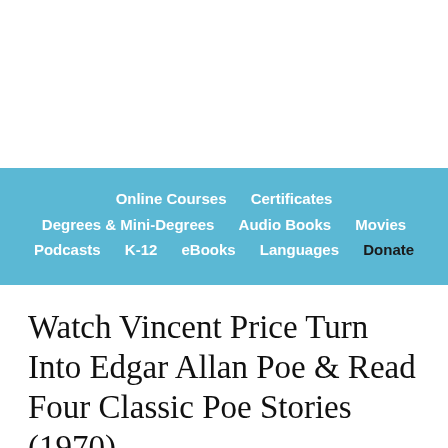Online Courses | Certificates | Degrees & Mini-Degrees | Audio Books | Movies | Podcasts | K-12 | eBooks | Languages | Donate
Watch Vincent Price Turn Into Edgar Allan Poe & Read Four Classic Poe Stories (1970)
in Film, Television | October 22nd, 2015 1 Comment